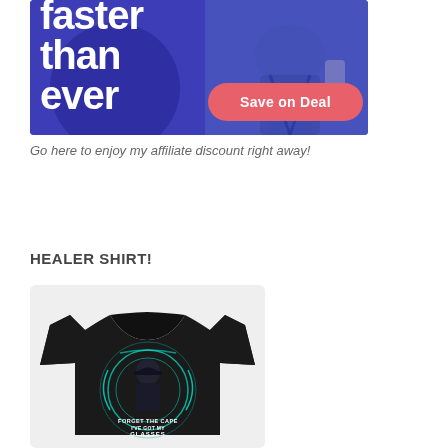[Figure (illustration): Promotional banner ad with blue/purple gradient background, large white bold text reading 'faster than ever', a pink rounded button labeled 'Save on Deal', a dark circle shape on the left, and a person in the background on the right]
Go here to enjoy my affiliate discount right away!
HEALER SHIRT!
[Figure (photo): Black t-shirt with a graphic design featuring a character with teal circular light effects and text reading 'FORGET THE CAPE I'VE GOT MY GLASSES' on a light grey background]